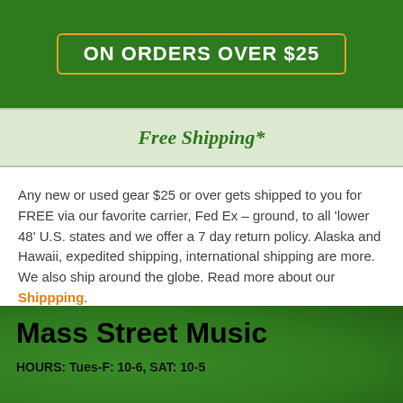[Figure (other): Green banner with orange-bordered box containing text 'ON ORDERS OVER $25']
Free Shipping*
Any new or used gear $25 or over gets shipped to you for FREE via our favorite carrier, Fed Ex – ground, to all 'lower 48' U.S. states and we offer a 7 day return policy. Alaska and Hawaii, expedited shipping, international shipping are more. We also ship around the globe. Read more about our Shippping.
Mass Street Music
HOURS: Tues-F: 10-6, SAT: 10-5